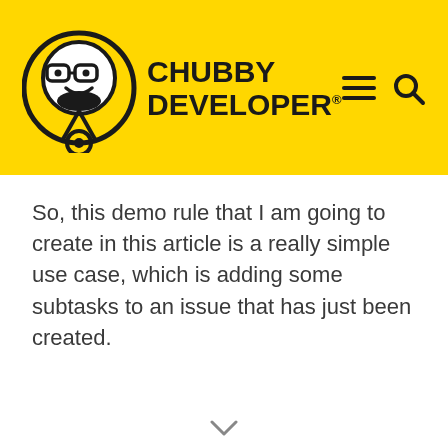[Figure (logo): Chubby Developer logo with circular mascot icon and bold text reading CHUBBY DEVELOPER with registered trademark symbol]
So, this demo rule that I am going to create in this article is a really simple use case, which is adding some subtasks to an issue that has just been created.